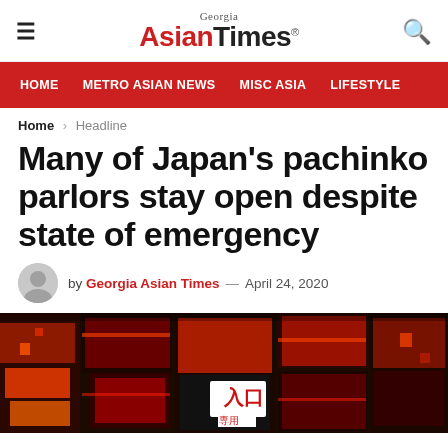Georgia Asian Times
HOME   METRO ASIAN NEWS   MISC ASIA   LIFESTYLE
Home > Headline
Many of Japan's pachinko parlors stay open despite state of emergency
by Georgia Asian Times — April 24, 2020
[Figure (photo): Exterior of a pachinko parlor in Japan with colorful signage and a Japanese entrance sign reading 入口 (entrance)]